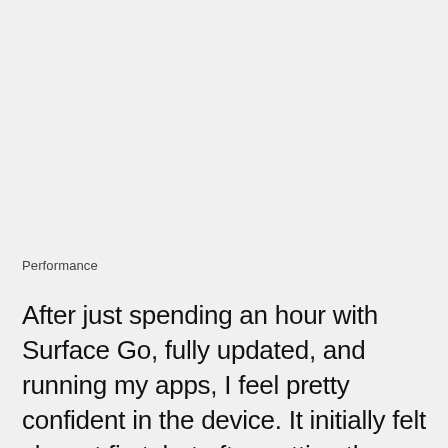Performance
After just spending an hour with Surface Go, fully updated, and running my apps, I feel pretty confident in the device. It initially felt slow at first, but after getting the latest drivers, Surface Go feels just like my Surface Pro 4. I'll be spending more time with Surface Go this weekend, so be sure to keep